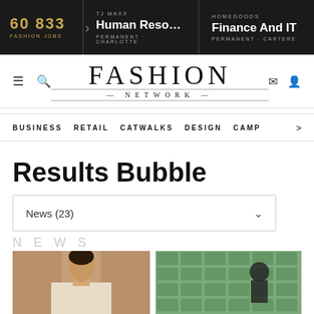60 833 FASHION JOBS | TJ MAXX Human Resources Busi... PERMANENT - CHARLOTTE | HOMEGOODS Finance And IT PERMANENT - CARTERE
[Figure (screenshot): Fashion Network website header with logo, navigation menu (BUSINESS, RETAIL, CATWALKS, DESIGN, CAMP), search results page title 'Results Bubble', dropdown showing News (23), and NEWS section with two article thumbnail images.]
Results Bubble
News (23)
NEWS